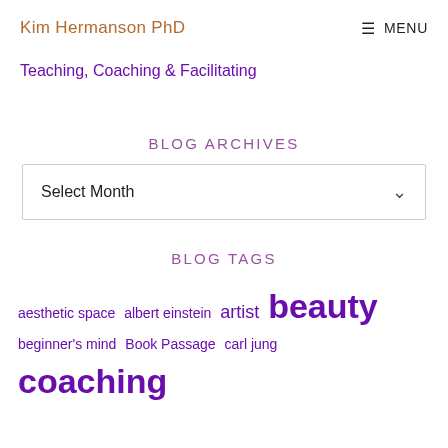Kim Hermanson PhD   ≡ MENU
Teaching, Coaching & Facilitating
BLOG ARCHIVES
Select Month
BLOG TAGS
aesthetic space  albert einstein  artist  beauty  beginner's mind  Book Passage  carl jung  coaching